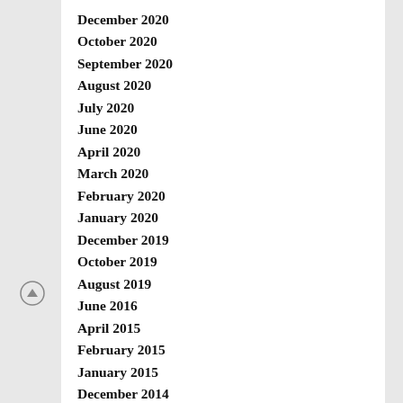December 2020
October 2020
September 2020
August 2020
July 2020
June 2020
April 2020
March 2020
February 2020
January 2020
December 2019
October 2019
August 2019
June 2016
April 2015
February 2015
January 2015
December 2014
October 2014
September 2014